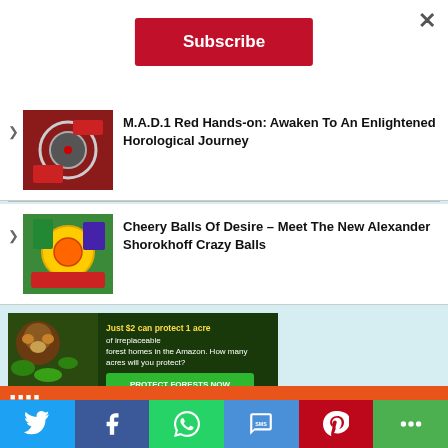[Figure (other): Close (X) button in top right corner]
[Figure (other): Red Subscribe button centered at top]
M.A.D.1 Red Hands-on: Awaken To An Enlightened Horological Journey
Cheery Balls Of Desire – Meet The New Alexander Shorokhoff Crazy Balls
[Figure (other): Advertisement banner: Just $2 can protect 1 acre of irreplaceable forest homes in the Amazon. How many acres will you protect? PROTECT FORESTS NOW]
[Figure (other): Social sharing bar with Twitter, Facebook, WhatsApp, SMS, Pinterest, More buttons]